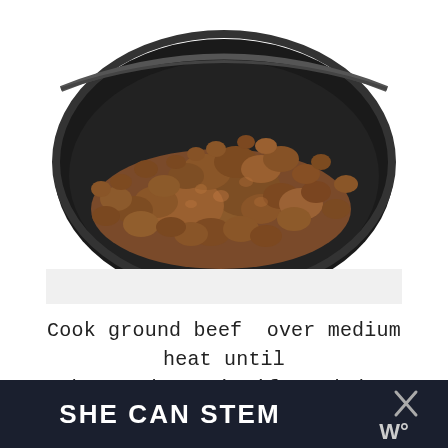[Figure (photo): A close-up photo of cooked ground beef in a dark non-stick skillet/pan, viewed from above at an angle. The meat is browned and crumbled.]
Cook ground beef  over medium heat until browned. Drain if needed.
SHE CAN STEM